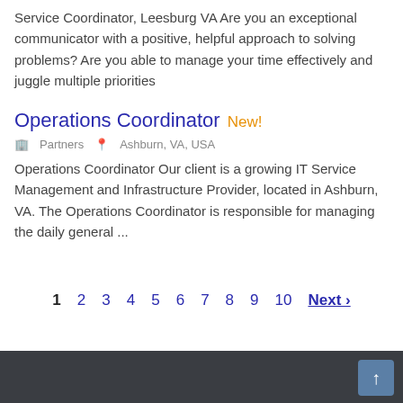Service Coordinator, Leesburg VA Are you an exceptional communicator with a positive, helpful approach to solving problems? Are you able to manage your time effectively and juggle multiple priorities
Operations Coordinator New!
Partners  Ashburn, VA, USA
Operations Coordinator Our client is a growing IT Service Management and Infrastructure Provider, located in Ashburn, VA. The Operations Coordinator is responsible for managing the daily general ...
1 2 3 4 5 6 7 8 9 10 Next ›